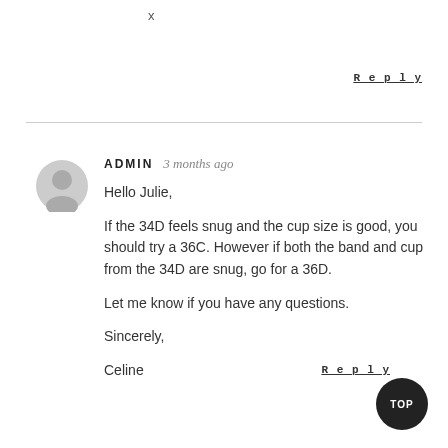x
Reply
ADMIN  3 months ago

Hello Julie,

If the 34D feels snug and the cup size is good, you should try a 36C. However if both the band and cup from the 34D are snug, go for a 36D.

Let me know if you have any questions.

Sincerely,

Celine
Reply
TOP